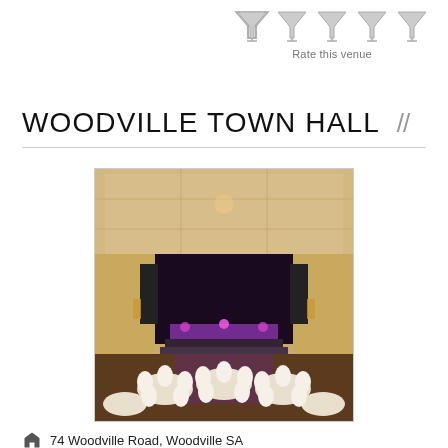[Figure (other): Five martini-glass shaped rating stars arranged in a row, unfilled/grey, with 'Rate this venue' label below]
WOODVILLE TOWN HALL //
[Figure (photo): Interior photo of Woodville Town Hall showing a grand ballroom set up for an event with round tables covered in white tablecloths and white chair covers, a stage with purple lighting at the far end, ornate ceiling with decorative panels, and warm lighting throughout]
74 Woodville Road, Woodville SA